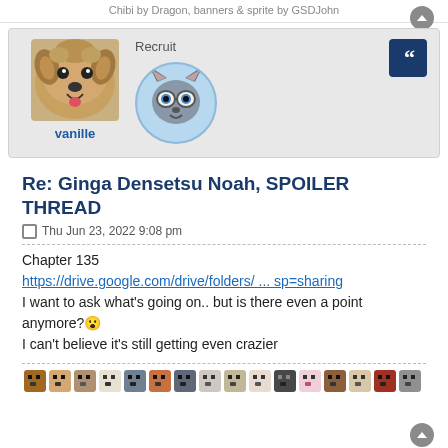Chibi by Dragon, banners & sprite by GSDJohn
vanille
Recruit
Re: Ginga Densetsu Noah, SPOILER THREAD
Thu Jun 23, 2022 9:08 pm
Chapter 135
https://drive.google.com/drive/folders/ ... sp=sharing
I want to ask what's going on.. but is there even a point anymore?😮
I can't believe it's still getting even crazier
[Figure (illustration): A row of pixel-art dog face emoji/icons in various colors and styles]